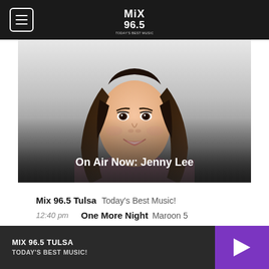MIX 96.5 (logo) — navigation bar with hamburger menu
[Figure (photo): Portrait photo of Jenny Lee, a woman with long dark hair, smiling, wearing a mauve blazer, set against a white background fading to dark gradient at bottom with text 'On Air Now: Jenny Lee']
Mix 96.5 Tulsa  Today's Best Music!
12:40 pm   One More Night  Maroon 5
VIEW ALL
MIX 96.5 TULSA  TODAY'S BEST MUSIC!